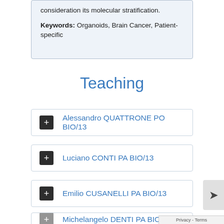consideration its molecular stratification.
Keywords: Organoids, Brain Cancer, Patient-specific
Teaching
+ Alessandro QUATTRONE PO BIO/13
+ Luciano CONTI PA BIO/13
+ Emilio CUSANELLI PA BIO/13
+ Michelangelo DENTI PA BIO/13 (partial)